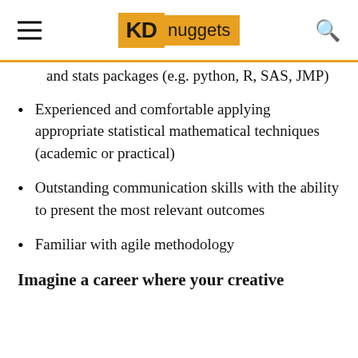KD nuggets
and stats packages (e.g. python, R, SAS, JMP)
Experienced and comfortable applying appropriate statistical mathematical techniques (academic or practical)
Outstanding communication skills with the ability to present the most relevant outcomes
Familiar with agile methodology
Imagine a career where your creative